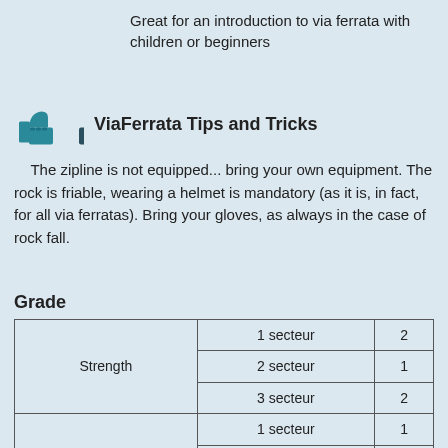Great for an introduction to via ferrata with children or beginners
ViaFerrata Tips and Tricks
The zipline is not equipped... bring your own equipment. The rock is friable, wearing a helmet is mandatory (as it is, in fact, for all via ferratas). Bring your gloves, as always in the case of rock fall.
Grade
|  |  |  |
| --- | --- | --- |
| Strength | 1 secteur | 2 |
|  | 2 secteur | 1 |
|  | 3 secteur | 2 |
| Dizziness | 1 secteur | 1 |
|  | 2 secteur | 1 |
|  | 3 secteur | 2 |